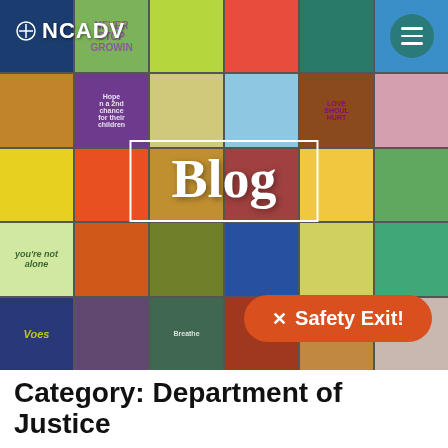[Figure (photo): Colorful grid of hand-painted tiles featuring hearts, trees, and inspirational messages. Text overlays include NCADV logo, 'Blog' in a white border box, and a safety exit button.]
Category: Department of Justice